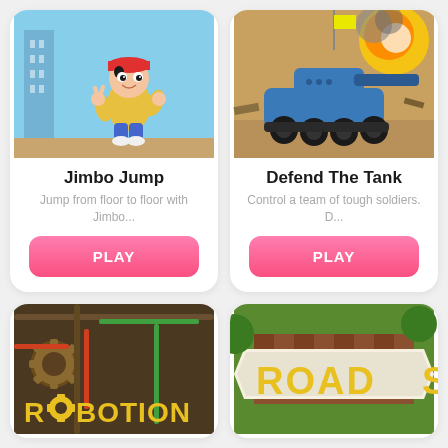[Figure (screenshot): Game card for Jimbo Jump showing cartoon boy character in yellow hoodie]
Jimbo Jump
Jump from floor to floor with Jimbo...
[Figure (screenshot): PLAY button for Jimbo Jump]
[Figure (screenshot): Game card for Defend The Tank showing blue tank in battle]
Defend The Tank
Control a team of tough soldiers. D...
[Figure (screenshot): PLAY button for Defend The Tank]
[Figure (screenshot): Partial game card for Robotion showing robot-themed game art]
[Figure (screenshot): Partial game card for Road showing road-themed game art]